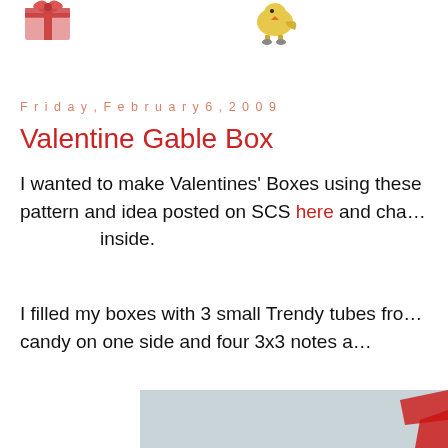[Figure (illustration): Small pink/red gift box illustration on the upper left]
[Figure (illustration): Small bird/chick illustration on the upper center-right]
Friday, February 6, 2009
Valentine Gable Box
I wanted to make Valentines' Boxes using these pattern and idea posted on SCS here and cha... inside.
I filled my boxes with 3 small Trendy tubes fro... candy on one side and four 3x3 notes a...
[Figure (photo): Partial photo of Valentine Gable Box with red decorations, cropped at bottom of page]